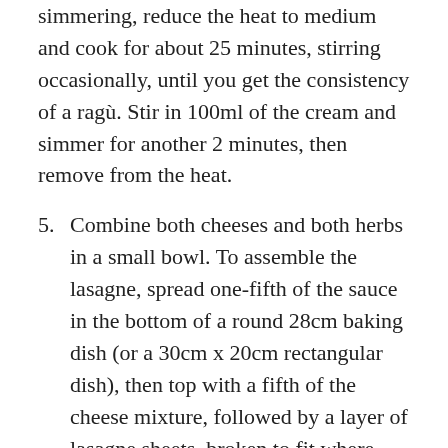simmering, reduce the heat to medium and cook for about 25 minutes, stirring occasionally, until you get the consistency of a ragù. Stir in 100ml of the cream and simmer for another 2 minutes, then remove from the heat.
5. Combine both cheeses and both herbs in a small bowl. To assemble the lasagne, spread one-fifth of the sauce in the bottom of a round 28cm baking dish (or a 30cm x 20cm rectangular dish), then top with a fifth of the cheese mixture, followed by a layer of lasagne sheets, broken to fit where necessary. Repeat these layers three more times in that order, and finish with a final layer of sauce and cheese: that's five layers of sauce and cheese and four layers of pasta.
6. Drizzle over 1 tablespoon of cream and 1 tablespoon of oil, then cover with foil and bake for 15 minutes. Remove the foil, increase the